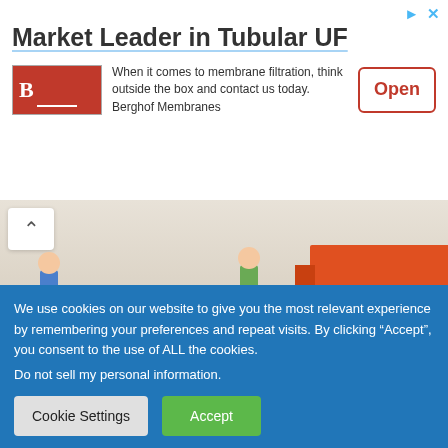[Figure (infographic): Advertisement banner: 'Market Leader in Tubular UF' with Berghof Membranes logo, body text, and Open button]
[Figure (illustration): Hero image showing illustrated movers carrying boxes toward a moving truck, partially visible]
Business
Ultimate Guide for Relocation your House
We use cookies on our website to give you the most relevant experience by remembering your preferences and repeat visits. By clicking “Accept”, you consent to the use of ALL the cookies.
Do not sell my personal information.
Cookie Settings
Accept